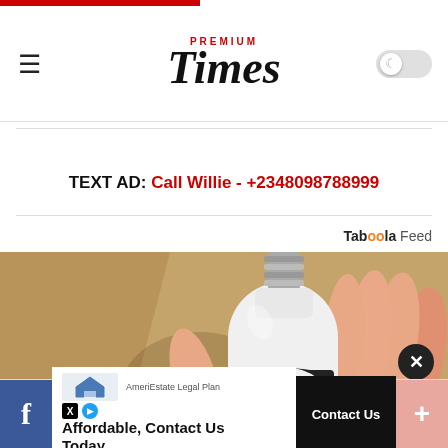PREMIUM Times
TEXT AD: Call Willie - +2348098788999
Taboola Feed
[Figure (photo): Hand holding a white smart light bulb security camera device with metal screw base, against a cardboard box background]
AmeriEstate Legal Plan — Affordable, Contact Us Today — Contact Us